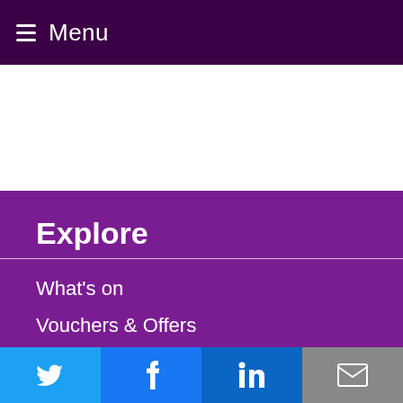≡ Menu
[Figure (other): White content area / advertisement space]
Explore
What's on
Vouchers & Offers
Competitions
We use cookies to ensure that we give you the best experience on our website. If you continue to use this site we will assume that you are happy with it.
[Figure (infographic): Social share bar with Twitter, Facebook, LinkedIn, and email icons]